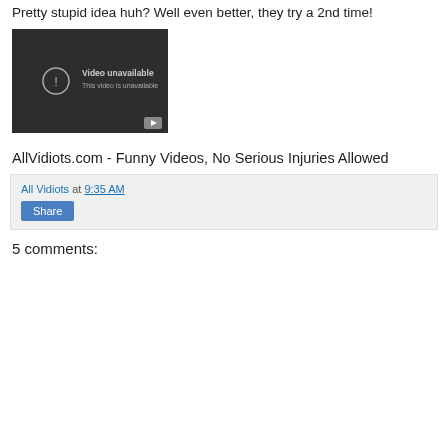Pretty stupid idea huh? Well even better, they try a 2nd time!
[Figure (screenshot): Embedded YouTube video player showing 'Video unavailable - This video is unavailable' message with YouTube logo in bottom right corner, dark background.]
AllVidiots.com - Funny Videos, No Serious Injuries Allowed
All Vidiots at 9:35 AM
Share
5 comments: